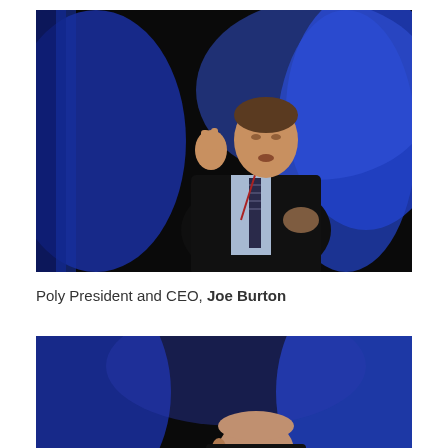[Figure (photo): A man in a dark suit with a striped tie, speaking or presenting on stage against a blue-lit dark curtain backdrop. He is gesturing with his right hand raised.]
Poly President and CEO, Joe Burton
[Figure (photo): A person partially visible at the bottom of the frame, against a blue-lit dark curtain backdrop, similar stage setting.]